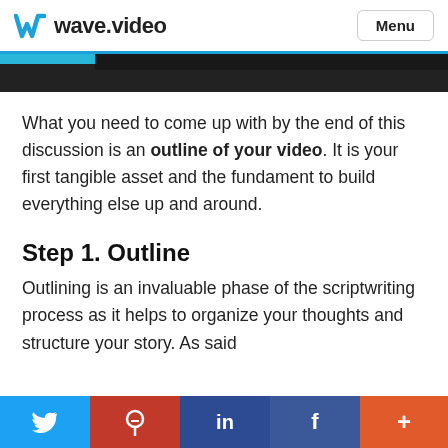wave.video  Menu
[Figure (photo): Partial image strip showing a dark background with cyan and black horizontal bands at the top of an article page]
What you need to come up with by the end of this discussion is an outline of your video. It is your first tangible asset and the fundament to build everything else up and around.
Step 1. Outline
Outlining is an invaluable phase of the scriptwriting process as it helps to organize your thoughts and structure your story. As said
Twitter Pinterest LinkedIn Facebook +